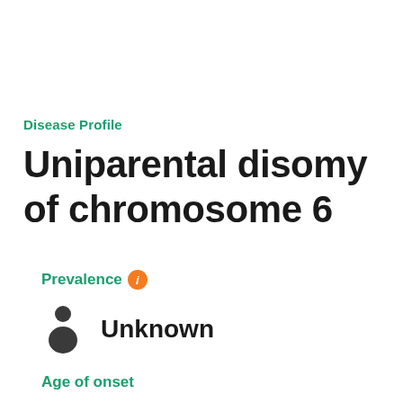Disease Profile
Uniparental disomy of chromosome 6
Prevalence ℹ
Unknown
Age of onset